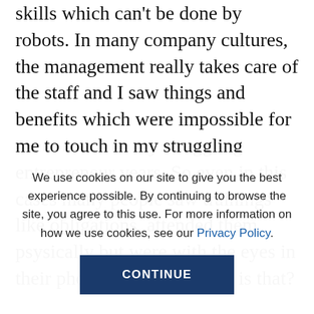skills which can't be done by robots. In many company cultures, the management really takes care of the staff and I saw things and benefits which were impossible for me to touch in my struggling entrepreneur years. So even in this cases many people saw trainings like obligations, attended them psysically but were with the eyes in their phones and such. Why is that?

I've learned the hard way that growth come only outside of the comfort zone. And many people needs to be taken out from their comfort zones as to say by
We use cookies on our site to give you the best experience possible. By continuing to browse the site, you agree to this use. For more information on how we use cookies, see our Privacy Policy.
CONTINUE